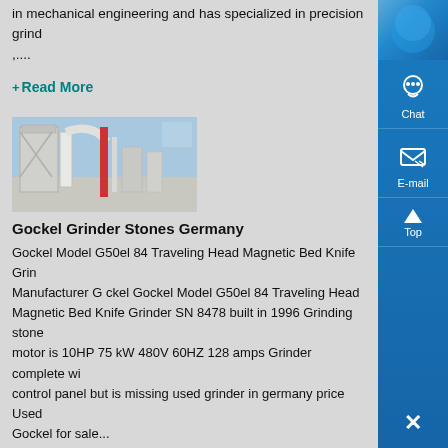in mechanical engineering and has specialized in precision grind...,....
+ Read More
[Figure (photo): Industrial grinding/milling equipment photo showing white machinery and structures]
Gockel Grinder Stones Germany
Gockel Model G50el 84 Traveling Head Magnetic Bed Knife Grin... Manufacturer G ckel Gockel Model G50el 84 Traveling Head Magnetic Bed Knife Grinder SN 8478 built in 1996 Grinding stone motor is 10HP 75 kW 480V 60HZ 128 amps Grinder complete wi... control panel but is missing used grinder in germany price Used Gockel for sale...
+ Read More